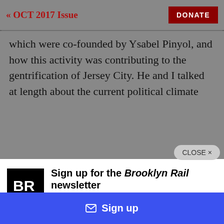« OCT 2017 Issue
which were co-founded by Ysabel Pinyol, and how this activity was contributing to the gentrification of Jersey City. He and I talked at length about the current political climate
[Figure (screenshot): Newsletter signup modal for Brooklyn Rail. Shows BR logo in black square, headline 'Sign up for the Brooklyn Rail newsletter', description 'Get notified about upcoming live conversations with artists and when the next issue of the Rail drops.', and a blue Sign up button.]
Sign up for the Brooklyn Rail newsletter
Get notified about upcoming live conversations with artists and when the next issue of the Rail drops.